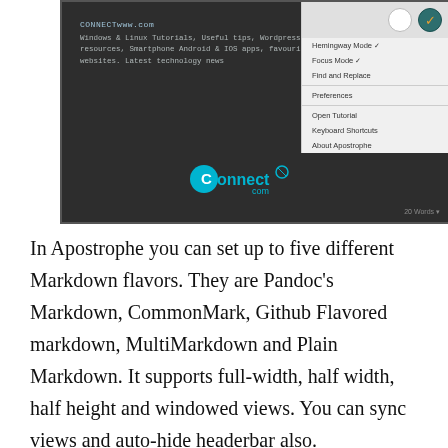[Figure (screenshot): Screenshot of Apostrophe markdown editor in dark mode showing a dropdown menu with options: Hemingway Mode, Focus Mode, Find and Replace, Preferences, Open Tutorial, Keyboard Shortcuts, About Apostrophe. Two circular buttons visible at top right. Connect.com logo visible at bottom right of editor. Word count '20 Words' at bottom right corner.]
In Apostrophe you can set up to five different Markdown flavors. They are Pandoc's Markdown, CommonMark, Github Flavored markdown, MultiMarkdown and Plain Markdown. It supports full-width, half width, half height and windowed views. You can sync views and auto-hide headerbar also.